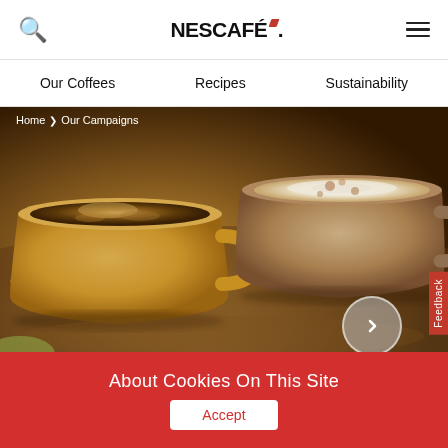NESCAFÉ
Our Coffees   Recipes   Sustainability
Home > Our Campaigns
[Figure (photo): Two cups of coffee seen from above on a wooden surface. Left cup contains a frothy black coffee in a yellow mug; right cup has a latte art in a ceramic cup.]
About Cookies On This Site
Accept